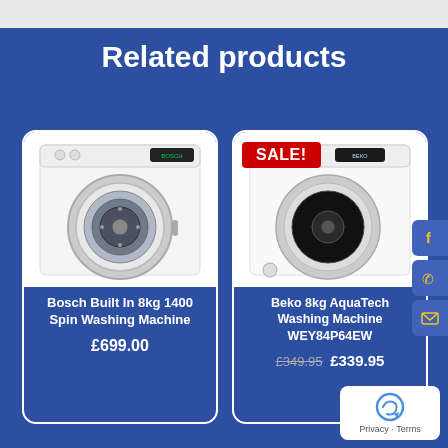Related products
[Figure (photo): Bosch Built In 8kg 1400 Spin Washing Machine product photo]
Bosch Built In 8kg 1400 Spin Washing Machine
£699.00
[Figure (photo): Beko 8kg AquaTech Washing Machine WEY84P64EW product photo with SALE! badge]
Beko 8kg AquaTech Washing Machine WEY84P64EW
£349.95 £339.95